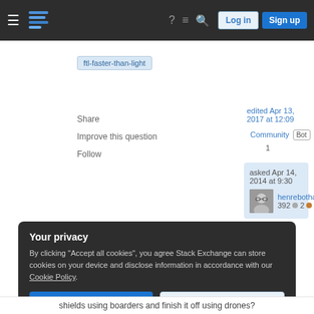Stack Exchange — Log in | Sign up
ftl-faster-than-light
Share
Improve this question
Follow
edited Apr 13, 2017 at 12:09
Community Bot
1
asked Apr 14, 2014 at 9:30
henrebotha
392 ●2 ●13
Your privacy
By clicking "Accept all cookies", you agree Stack Exchange can store cookies on your device and disclose information in accordance with our Cookie Policy.
Accept all cookies   Customize settings
shields using boarders and finish it off using drones?